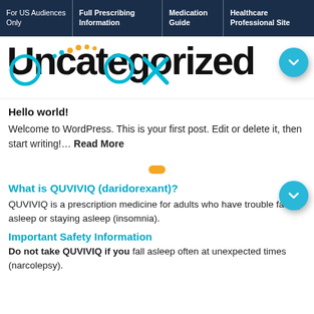For US Audiences Only | Full Prescribing Information | Medication Guide | Healthcare Professional Site
Uncategorized
Hello world!
Welcome to WordPress. This is your first post. Edit or delete it, then start writing!… Read More
What is QUVIVIQ (daridorexant)?
QUVIVIQ is a prescription medicine for adults who have trouble falling asleep or staying asleep (insomnia).
Important Safety Information
Do not take QUVIVIQ if you fall asleep often at unexpected times (narcolepsy).